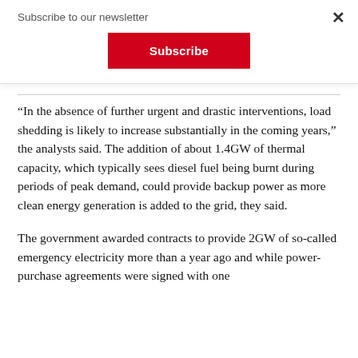Subscribe to our newsletter
Subscribe
“In the absence of further urgent and drastic interventions, load shedding is likely to increase substantially in the coming years,” the analysts said. The addition of about 1.4GW of thermal capacity, which typically sees diesel fuel being burnt during periods of peak demand, could provide backup power as more clean energy generation is added to the grid, they said.
The government awarded contracts to provide 2GW of so-called emergency electricity more than a year ago and while power-purchase agreements were signed with one